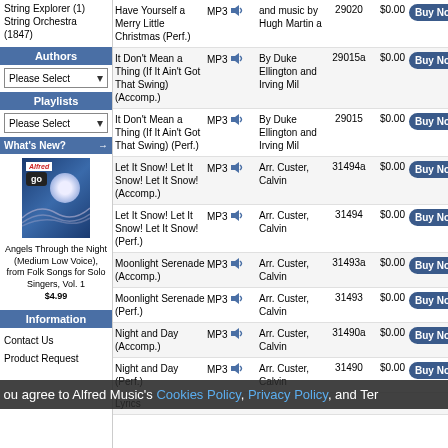String Explorer (1)
String Orchestra (1847)
Authors
Please Select
Playlists
Please Select
What's New?
[Figure (photo): Alfred Music product CD cover - blue abstract design]
Angels Through the Night (Medium Low Voice), from Folk Songs for Solo Singers, Vol. 1
$4.99
Information
Contact Us
Product Request
| Title | Format | Author | SKU | Price | Action |
| --- | --- | --- | --- | --- | --- |
| Have Yourself a Merry Little Christmas (Perf.) | MP3 | and music by Hugh Martin a | 29020 | $0.00 | Buy Now! |
| It Don't Mean a Thing (If It Ain't Got That Swing) (Accomp.) | MP3 | By Duke Ellington and Irving Mil | 29015a | $0.00 | Buy Now! |
| It Don't Mean a Thing (If It Ain't Got That Swing) (Perf.) | MP3 | By Duke Ellington and Irving Mil | 29015 | $0.00 | Buy Now! |
| Let It Snow! Let It Snow! Let It Snow! (Accomp.) | MP3 | Arr. Custer, Calvin | 31494a | $0.00 | Buy Now! |
| Let It Snow! Let It Snow! Let It Snow! (Perf.) | MP3 | Arr. Custer, Calvin | 31494 | $0.00 | Buy Now! |
| Moonlight Serenade (Accomp.) | MP3 | Arr. Custer, Calvin | 31493a | $0.00 | Buy Now! |
| Moonlight Serenade (Perf.) | MP3 | Arr. Custer, Calvin | 31493 | $0.00 | Buy Now! |
| Night and Day (Accomp.) | MP3 | Arr. Custer, Calvin | 31490a | $0.00 | Buy Now! |
| Night and Day (Perf.) | MP3 | Arr. Custer, Calvin | 31490 | $0.00 | Buy Now! |
ou agree to Alfred Music's Cookies Policy, Privacy Policy, and Ter